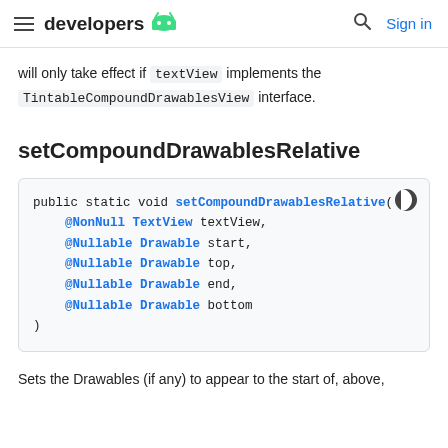developers
will only take effect if textView implements the TintableCompoundDrawablesView interface.
setCompoundDrawablesRelative
[Figure (screenshot): Code block showing: public static void setCompoundDrawablesRelative(@NonNull TextView textView, @Nullable Drawable start, @Nullable Drawable top, @Nullable Drawable end, @Nullable Drawable bottom)]
Sets the Drawables (if any) to appear to the start of, above,